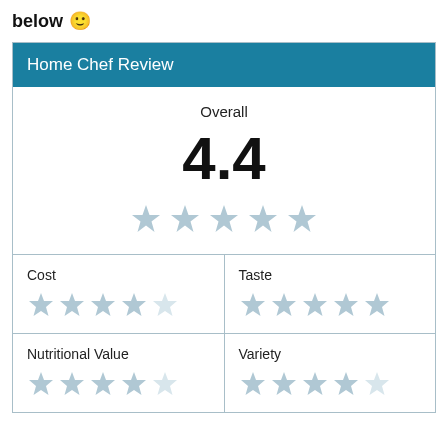below 🙂
| Home Chef Review |
| --- |
| Overall | 4.4 | ★★★★★ |
| Cost | ★★★★☆ | Taste | ★★★★★ |
| Nutritional Value | ★★★★☆ | Variety | ★★★★☆ |